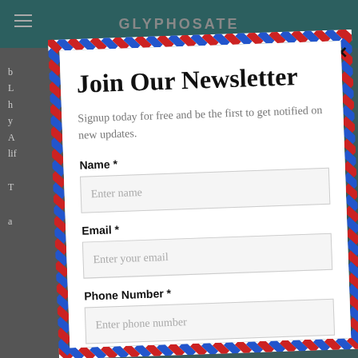GLYPHOSATE
Join Our Newsletter
Signup today for free and be the first to get notified on new updates.
Name *
Enter name
Email *
Enter your email
Phone Number *
Enter phone number